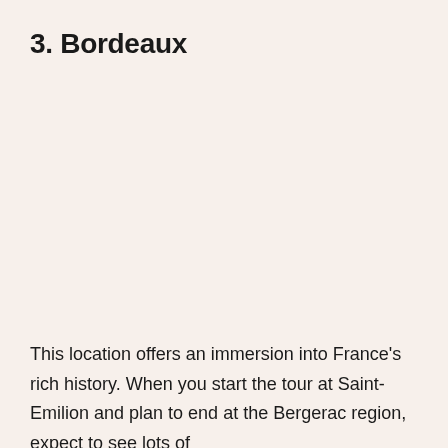3. Bordeaux
This location offers an immersion into France's rich history. When you start the tour at Saint-Emilion and plan to end at the Bergerac region, expect to see lots of